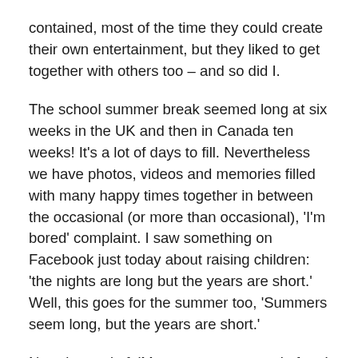contained, most of the time they could create their own entertainment, but they liked to get together with others too – and so did I.
The school summer break seemed long at six weeks in the UK and then in Canada ten weeks! It's a lot of days to fill. Nevertheless we have photos, videos and memories filled with many happy times together in between the occasional (or more than occasional), 'I'm bored' complaint. I saw something on Facebook just today about raising children: 'the nights are long but the years are short.' Well, this goes for the summer too, 'Summers seem long, but the years are short.'
Now, instead of, 'Mum, can we go to…' often I get, 'Mum, can we take the car to…' Their plans mostly have no consideration for what I might like, even though I have